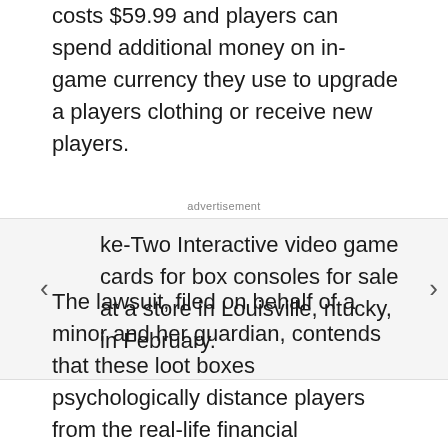costs $59.99 and players can spend additional money on in-game currency they use to upgrade a players clothing or receive new players.
advertisement
ke-Two Interactive video game cards for box consoles for sale at a store in Louisville, ntucky, in February.
The lawsuit, filed on behalf of a minor and her guardian, contends that these loot boxes psychologically distance players from the real-life financial implications of in-game purchases and the transactions are particularly attractive